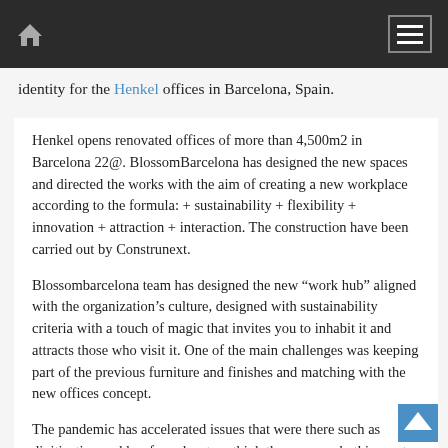Home menu
identity for the Henkel offices in Barcelona, Spain.
Henkel opens renovated offices of more than 4,500m2 in Barcelona 22@. BlossomBarcelona has designed the new spaces and directed the works with the aim of creating a new workplace according to the formula: + sustainability + flexibility + innovation + attraction + interaction. The construction have been carried out by Construnext.
Blossombarcelona team has designed the new “work hub” aligned with the organization’s culture, designed with sustainability criteria with a touch of magic that invites you to inhabit it and attracts those who visit it. One of the main challenges was keeping part of the previous furniture and finishes and matching with the new offices concept.
The pandemic has accelerated issues that were there such as digitization and has forced us to rethink the way we do things, at all levels. The “standard” office